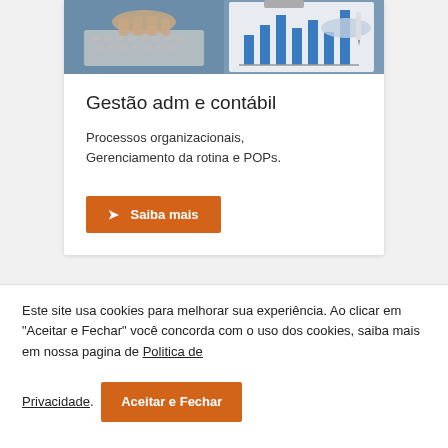[Figure (photo): Photo of hands working on a laptop keyboard and pointing at a bar chart on a clipboard]
Gestão adm e contábil
Processos organizacionais, Gerenciamento da rotina e POPs.
➤ Saiba mais
Este site usa cookies para melhorar sua experiência. Ao clicar em "Aceitar e Fechar" você concorda com o uso dos cookies, saiba mais em nossa pagina de Politica de Privacidade.
Aceitar e Fechar